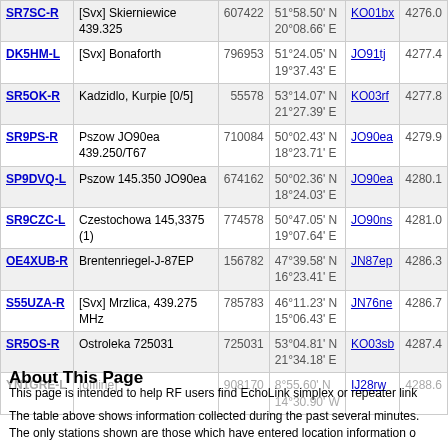| Callsign | Description | Node | Coordinates | Grid | Distance |
| --- | --- | --- | --- | --- | --- |
| SR7SC-R | [Svx] Skierniewice 439.325 | 607422 | 51°58.50' N 20°08.66' E | KO01bx | 4276.0 |
| DK5HM-L | [Svx] Bonaforth | 796953 | 51°24.05' N 19°37.43' E | JO91tj | 4277.4 |
| SR5OK-R | Kadzidlo, Kurpie [0/5] | 55578 | 53°14.07' N 21°27.39' E | KO03rf | 4277.8 |
| SR9PS-R | Pszow JO90ea 439.250/T67 | 710084 | 50°02.43' N 18°23.71' E | JO90ea | 4279.9 |
| SP9DVQ-L | Pszow 145.350 JO90ea | 674162 | 50°02.36' N 18°24.03' E | JO90ea | 4280.1 |
| SR9CZC-L | Czestochowa 145,3375 (1) | 774578 | 50°47.05' N 19°07.64' E | JO90ns | 4281.0 |
| OE4XUB-R | Brentenriegel-J-87EP | 156782 | 47°39.58' N 16°23.41' E | JN87ep | 4286.3 |
| S55UZA-R | [Svx] Mrzlica, 439.275 MHz | 785783 | 46°11.23' N 15°06.43' E | JN76ne | 4286.7 |
| SR5OS-R | Ostroleka 725031 | 725031 | 53°04.81' N 21°34.18' E | KO03sb | 4287.4 |
| YN1GRE-L | [offline] | 908170 | 8°55.60' N 14°30.90' W | IJ28rw | 4288.6 |
About This Page
This page is intended to help RF users find EchoLink simplex or repeater link
The table above shows information collected during the past several minutes. The only stations shown are those which have entered location information o...